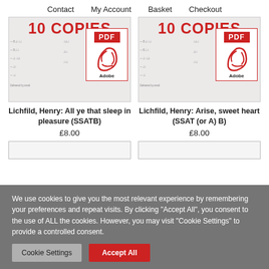Contact  My Account  Basket  Checkout
[Figure (screenshot): Product image for Lichfild, Henry: All ye that sleep in pleasure (SSATB) — shows '10 COPIES' text over sheet music background with PDF/Adobe badge and 'Delivered by email' label]
Lichfild, Henry: All ye that sleep in pleasure (SSATB)
£8.00
[Figure (screenshot): Product image for Lichfild, Henry: Arise, sweet heart (SSAT (or A) B) — shows '10 COPIES' text over sheet music background with PDF/Adobe badge and 'Delivered by email' label]
Lichfild, Henry: Arise, sweet heart (SSAT (or A) B)
£8.00
We use cookies to give you the most relevant experience by remembering your preferences and repeat visits. By clicking "Accept All", you consent to the use of ALL the cookies. However, you may visit "Cookie Settings" to provide a controlled consent.
Cookie Settings
Accept All